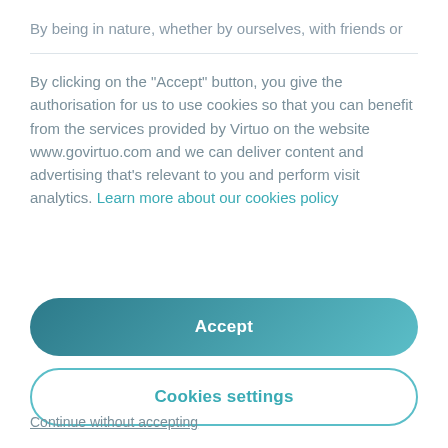By being in nature, whether by ourselves, with friends or
By clicking on the "Accept" button, you give the authorisation for us to use cookies so that you can benefit from the services provided by Virtuo on the website www.govirtuo.com and we can deliver content and advertising that's relevant to you and perform visit analytics. Learn more about our cookies policy
Accept
Cookies settings
Continue without accepting